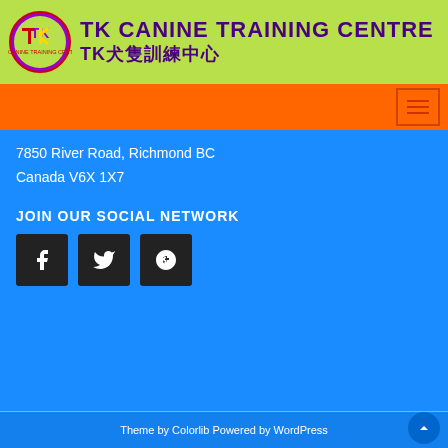[Figure (logo): TK Canine Training Centre logo banner with green background, circular TK logo on left, and text 'TK CANINE TRAINING CENTRE' and 'TK犬隻訓練中心' in purple on right]
[Figure (other): Orange navigation bar with hamburger menu button on the right]
7850 River Road, Richmond BC
Canada V6X 1X7
JOIN OUR SOCIAL NETWORK
[Figure (other): Three social media icon buttons: Facebook (f), Twitter (bird), Google+ (G+) in dark square buttons]
Theme by Colorlib Powered by WordPress